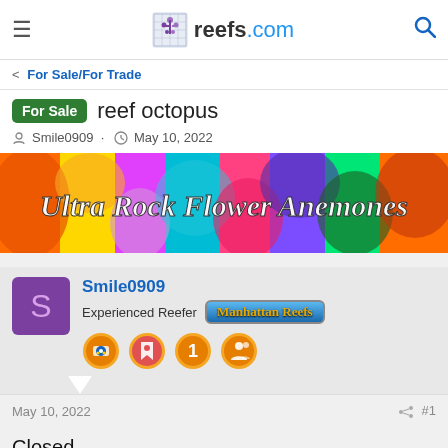reefs.com
< For Sale/For Trade
For Sale reef octopus
Smile0909 · May 10, 2022
[Figure (illustration): Colorful banner advertising Ultra Rock Flower Anemones with vibrant floral/anemone imagery and white italic text overlay]
Smile0909
Experienced Reefer Manhattan Reefs
[Figure (illustration): Four circular orange badge icons for the user Smile0909]
May 10, 2022
#1
Closed
Last edited: May 26, 2022